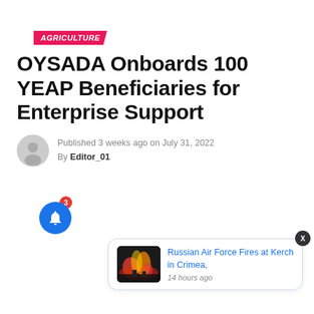AGRICULTURE
OYSADA Onboards 100 YEAP Beneficiaries for Enterprise Support
Published 3 weeks ago on July 31, 2022
By Editor_01
[Figure (screenshot): Notification card showing thumbnail image of fire/explosion with link text: Russian Air Force Fires at Kerch in Crimea, 14 hours ago]
[Figure (illustration): Blue circular bell notification button with red badge showing number 3]